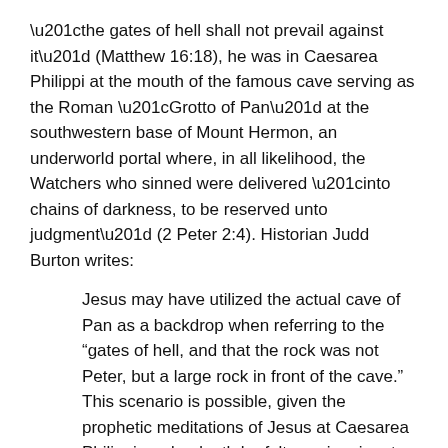“the gates of hell shall not prevail against it” (Matthew 16:18), he was in Caesarea Philippi at the mouth of the famous cave serving as the Roman “Grotto of Pan” at the southwestern base of Mount Hermon, an underworld portal where, in all likelihood, the Watchers who sinned were delivered “into chains of darkness, to be reserved unto judgment” (2 Peter 2:4). Historian Judd Burton writes:
Jesus may have utilized the actual cave of Pan as a backdrop when referring to the “gates of hell, and that the rock was not Peter, but a large rock in front of the cave.” This scenario is possible, given the prophetic meditations of Jesus at Caesarea Philippi, and a death he felt was imminent, the circumstances necessitated a bolder and more dramatic act of oration than simply spitting in the face of Greco-Roman paganism. Mt. Hermon, with its reputation as ground zero for the tumult of fallen angels, was by